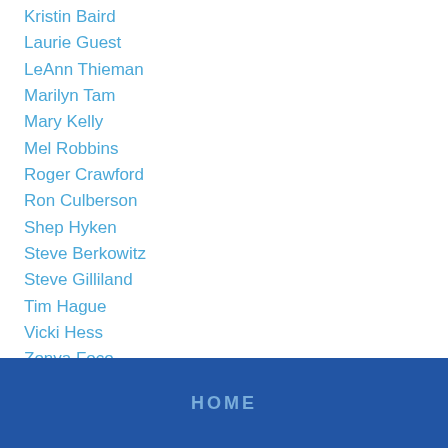Kristin Baird
Laurie Guest
LeAnn Thieman
Marilyn Tam
Mary Kelly
Mel Robbins
Roger Crawford
Ron Culberson
Shep Hyken
Steve Berkowitz
Steve Gilliland
Tim Hague
Vicki Hess
Zonya Foco
RSS Feed
HOME